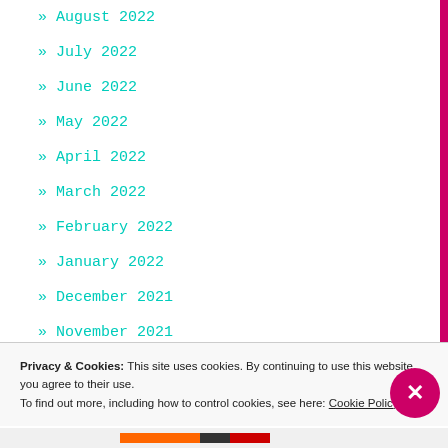» August 2022
» July 2022
» June 2022
» May 2022
» April 2022
» March 2022
» February 2022
» January 2022
» December 2021
» November 2021
» October 2021
Privacy & Cookies: This site uses cookies. By continuing to use this website, you agree to their use.
To find out more, including how to control cookies, see here: Cookie Policy
Close and accept